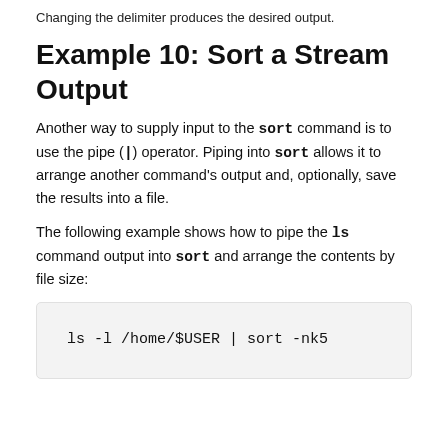Changing the delimiter produces the desired output.
Example 10: Sort a Stream Output
Another way to supply input to the sort command is to use the pipe (|) operator. Piping into sort allows it to arrange another command's output and, optionally, save the results into a file.
The following example shows how to pipe the ls command output into sort and arrange the contents by file size:
ls -l /home/$USER | sort -nk5